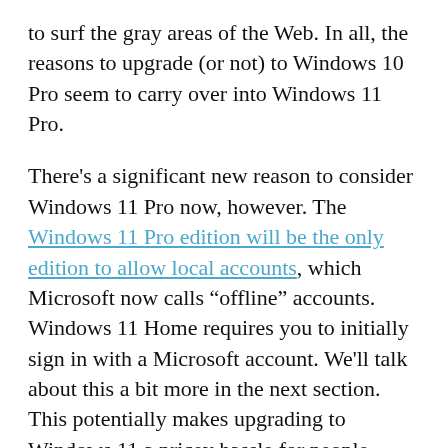to surf the gray areas of the Web. In all, the reasons to upgrade (or not) to Windows 10 Pro seem to carry over into Windows 11 Pro.
There's a significant new reason to consider Windows 11 Pro now, however. The Windows 11 Pro edition will be the only edition to allow local accounts, which Microsoft now calls “offline” accounts. Windows 11 Home requires you to initially sign in with a Microsoft account. We'll talk about this a bit more in the next section. This potentially makes upgrading to Windows 11 a pricey hassle for people already using local accounts, however. If you own a Windows 10 Home PC, and you want nothing to do with a Microsoft account, it appears you'll need to pay $99 to upgrade to Windows 10 Pro, and then on to Windows 11 Pro.